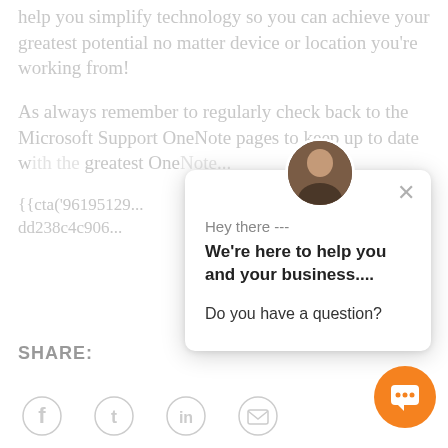help you simplify technology so you can achieve your greatest potential no matter device or location you're working from!
As always remember to regularly check back to the Microsoft Support OneNote pages to keep up to date w... greatest One...
{{cta('96195129... dd238c4c906...
[Figure (screenshot): Chat popup widget with avatar photo, greeting text 'Hey there ---', bold text 'We're here to help you and your business....', and 'Do you have a question?']
SHARE:
[Figure (infographic): Social sharing icons row: Facebook, Twitter, LinkedIn, Email]